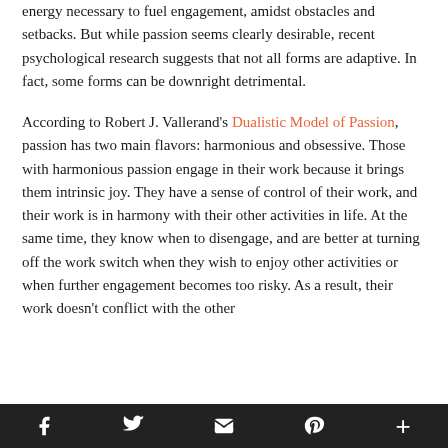energy necessary to fuel engagement, amidst obstacles and setbacks. But while passion seems clearly desirable, recent psychological research suggests that not all forms are adaptive. In fact, some forms can be downright detrimental.
According to Robert J. Vallerand's Dualistic Model of Passion, passion has two main flavors: harmonious and obsessive. Those with harmonious passion engage in their work because it brings them intrinsic joy. They have a sense of control of their work, and their work is in harmony with their other activities in life. At the same time, they know when to disengage, and are better at turning off the work switch when they wish to enjoy other activities or when further engagement becomes too risky. As a result, their work doesn't conflict with the other
f  [twitter]  [email]  p  +